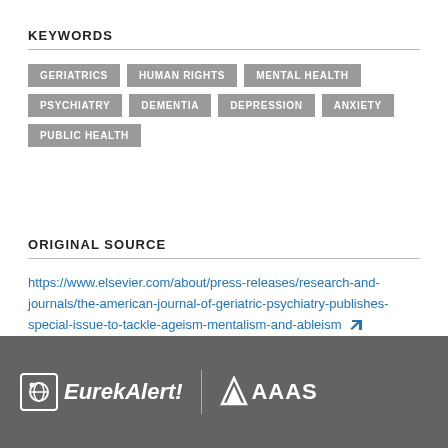KEYWORDS
GERIATRICS
HUMAN RIGHTS
MENTAL HEALTH
PSYCHIATRY
DEMENTIA
DEPRESSION
ANXIETY
PUBLIC HEALTH
ORIGINAL SOURCE
https://www.elsevier.com/about/press-releases/research-and-journals/the-american-journal-of-geriatric-psychiatry-publishes-special-issue-to-tackle-ageism-mentalism-and-ableism
EurekAlert! | AAAS